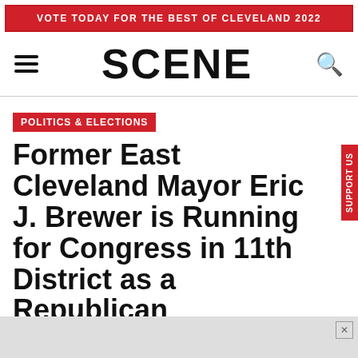VOTE TODAY FOR THE BEST OF CLEVELAND 2022
SCENE
POLITICS & ELECTIONS
Former East Cleveland Mayor Eric J. Brewer is Running for Congress in 11th District as a Republican